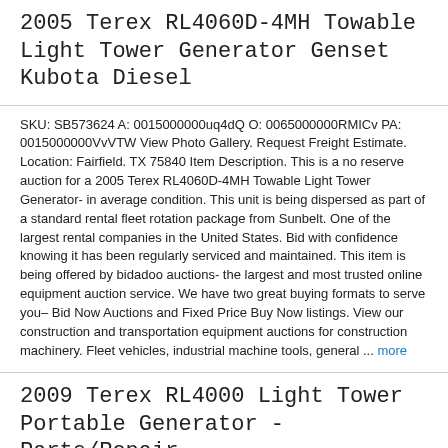2005 Terex RL4060D-4MH Towable Light Tower Generator Genset Kubota Diesel
SKU: SB573624 A: 0015000000uq4dQ O: 0065000000RMICv PA: 0015000000VvVTW View Photo Gallery. Request Freight Estimate. Location: Fairfield. TX 75840 Item Description. This is a no reserve auction for a 2005 Terex RL4060D-4MH Towable Light Tower Generator- in average condition. This unit is being dispersed as part of a standard rental fleet rotation package from Sunbelt. One of the largest rental companies in the United States. Bid with confidence knowing it has been regularly serviced and maintained. This item is being offered by bidadoo auctions- the largest and most trusted online equipment auction service. We have two great buying formats to serve you– Bid Now Auctions and Fixed Price Buy Now listings. View our construction and transportation equipment auctions for construction machinery. Fleet vehicles, industrial machine tools, general ... more
2009 Terex RL4000 Light Tower Portable Generator -Parts/Repair
SKU: SB606767 A: 0015000000yLZbi O: 0065000000RMkJB PA: 0015000000VvVTW View Photo Gallery. Request Freight Estimate. Location: Sugar Grove. IL 60554 Item Description. This is a no reserve auction for a 2009 Terex AL4000 Towable Light Tower in Parts/Repair condition. This unit is being dispersed as part of a standard rental fleet rotation package from Sunbelt. One of the largest rental companies in the United States. This item is being offered by bidadoo auctions- the largest and most trusted online equipment auction service. We have two